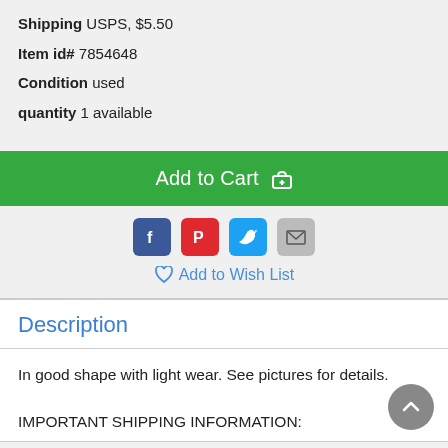Shipping USPS, $5.50
Item id# 7854648
Condition used
quantity 1 available
Add to Cart
[Figure (infographic): Social media share icons: Facebook, Pinterest, Twitter, Email]
Add to Wish List
Description
In good shape with light wear. See pictures for details.

IMPORTANT SHIPPING INFORMATION: